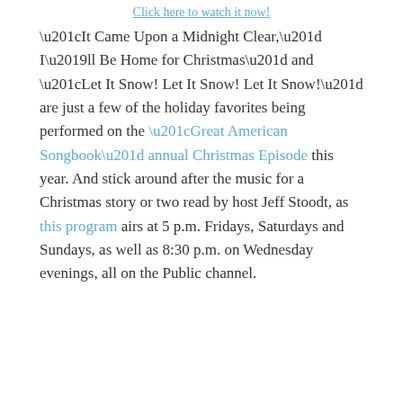Click here to watch it now!
“It Came Upon a Midnight Clear,” I’ll Be Home for Christmas” and “Let It Snow! Let It Snow! Let It Snow!” are just a few of the holiday favorites being performed on the “Great American Songbook” annual Christmas Episode this year. And stick around after the music for a Christmas story or two read by host Jeff Stoodt, as this program airs at 5 p.m. Fridays, Saturdays and Sundays, as well as 8:30 p.m. on Wednesday evenings, all on the Public channel.